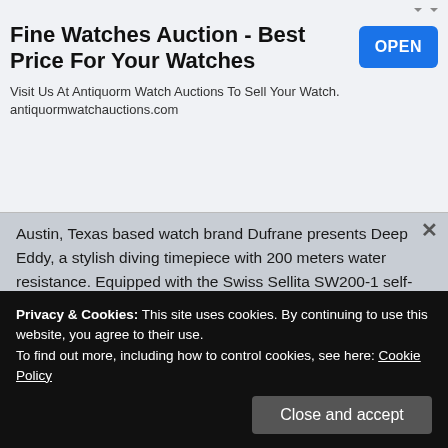[Figure (other): Advertisement banner for Antiquorm Watch Auctions with title 'Fine Watches Auction - Best Price For Your Watches', a blue OPEN button, and body text 'Visit Us At Antiquorm Watch Auctions To Sell Your Watch. antiquormwatchauctions.com']
Austin, Texas based watch brand Dufrane presents Deep Eddy, a stylish diving timepiece with 200 meters water resistance. Equipped with the Swiss Sellita SW200-1 self-winding movement, this stainless [FIND MORE DETAILS]
DUFRANE City Limits Automatic GMT Watch
July 4, 2021
DUFRANE City Limits is an excellent collection of dual time-zone watches powered by a tried and tested Swiss automatic movement. The series is consists of Tropical Dial,
Privacy & Cookies: This site uses cookies. By continuing to use this website, you agree to their use.
To find out more, including how to control cookies, see here: Cookie Policy
Close and accept
Weiss is a Los Angeles based independent watch brand.